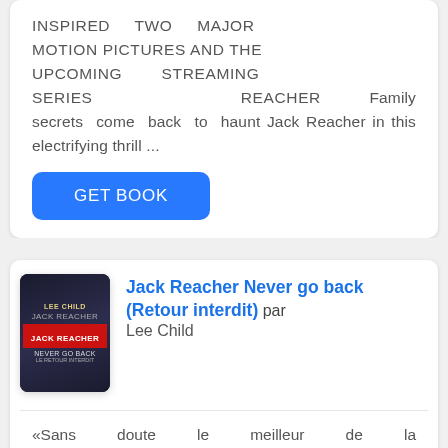INSPIRED TWO MAJOR MOTION PICTURES AND THE UPCOMING STREAMING SERIES REACHER Family secrets come back to haunt Jack Reacher in this electrifying thrill ...
[Figure (other): Blue GET BOOK button]
[Figure (illustration): Book cover thumbnail for Jack Reacher Never Go Back by Lee Child]
Jack Reacher Never go back (Retour interdit) par Lee Child
«Sans doute le meilleur de la série à emporter sur une île déserte. L'intrigue est